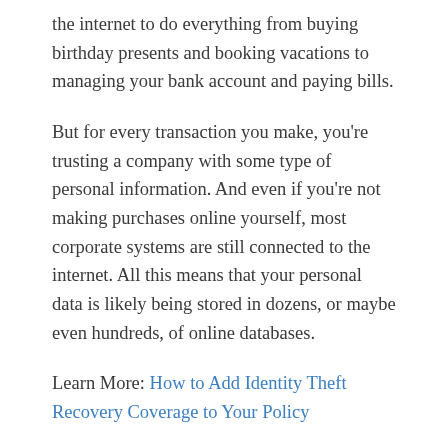the internet to do everything from buying birthday presents and booking vacations to managing your bank account and paying bills.
But for every transaction you make, you're trusting a company with some type of personal information. And even if you're not making purchases online yourself, most corporate systems are still connected to the internet. All this means that your personal data is likely being stored in dozens, or maybe even hundreds, of online databases.
Learn More: How to Add Identity Theft Recovery Coverage to Your Policy
Data security is a hot topic these days – and